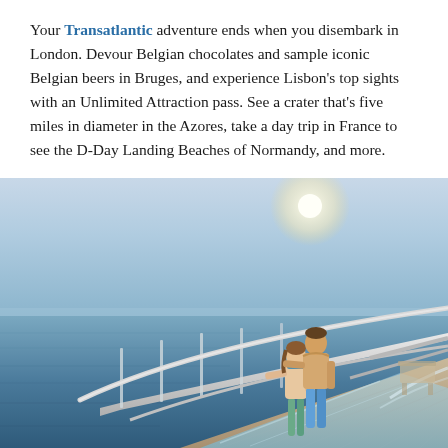Your Transatlantic adventure ends when you disembark in London. Devour Belgian chocolates and sample iconic Belgian beers in Bruges, and experience Lisbon's top sights with an Unlimited Attraction pass. See a crater that's five miles in diameter in the Azores, take a day trip in France to see the D-Day Landing Beaches of Normandy, and more.
[Figure (photo): A couple standing on a glass-bottomed deck extension of a cruise ship, looking out over a calm blue-grey ocean under a bright hazy sky. The ship's white railing and glass balustrade are visible in the foreground, with a transparent floor pool below them.]